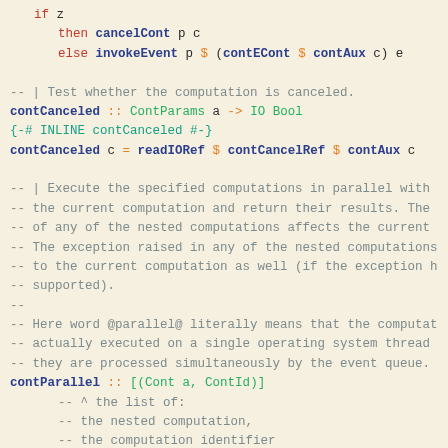Haskell source code showing contCanceled and contParallel function definitions with type signatures and inline pragma
[Figure (screenshot): Haskell source code listing]